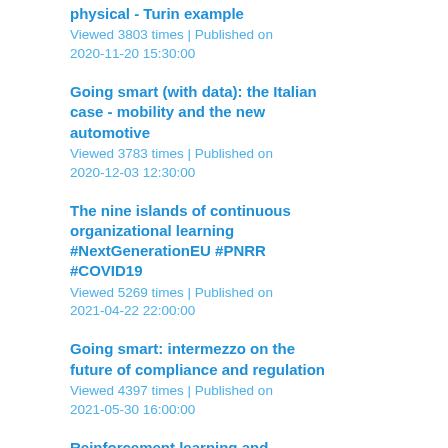physical - Turin example
Viewed 3803 times | Published on 2020-11-20 15:30:00
Going smart (with data): the Italian case - mobility and the new automotive
Viewed 3783 times | Published on 2020-12-03 12:30:00
The nine islands of continuous organizational learning #NextGenerationEU #PNRR #COVID19
Viewed 5269 times | Published on 2021-04-22 22:00:00
Going smart: intermezzo on the future of compliance and regulation
Viewed 4397 times | Published on 2021-05-30 16:00:00
Reinforcement learning and gamification within the #NextGenerationEU framework